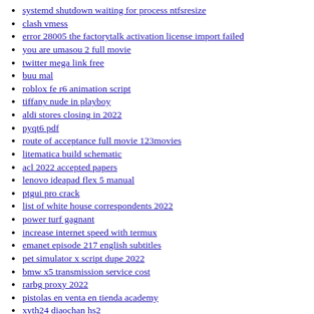systemd shutdown waiting for process ntfsresize
clash vmess
error 28005 the factorytalk activation license import failed
you are umasou 2 full movie
twitter mega link free
buu mal
roblox fe r6 animation script
tiffany nude in playboy
aldi stores closing in 2022
pyqt6 pdf
route of acceptance full movie 123movies
litematica build schematic
acl 2022 accepted papers
lenovo ideapad flex 5 manual
ptgui pro crack
list of white house correspondents 2022
power turf gagnant
increase internet speed with termux
emanet episode 217 english subtitles
pet simulator x script dupe 2022
bmw x5 transmission service cost
rarbg proxy 2022
pistolas en venta en tienda academy
xyth24 diaochan hs2
lilith in 5th house meaning